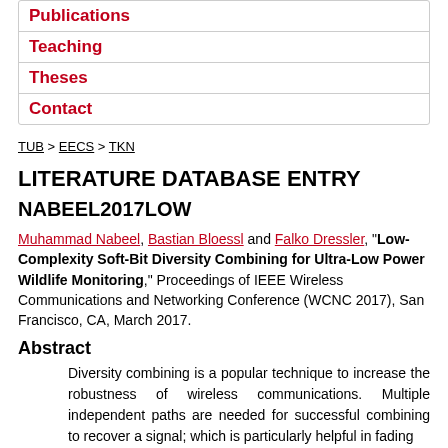Publications
Teaching
Theses
Contact
TUB > EECS > TKN
LITERATURE DATABASE ENTRY
NABEEL2017LOW
Muhammad Nabeel, Bastian Bloessl and Falko Dressler, "Low-Complexity Soft-Bit Diversity Combining for Ultra-Low Power Wildlife Monitoring," Proceedings of IEEE Wireless Communications and Networking Conference (WCNC 2017), San Francisco, CA, March 2017.
Abstract
Diversity combining is a popular technique to increase the robustness of wireless communications. Multiple independent paths are needed for successful combining to recover a signal; which is particularly helpful in fading